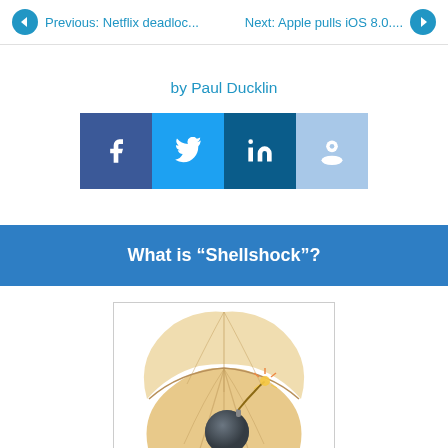Previous: Netflix deadloc...    Next: Apple pulls iOS 8.0....
by Paul Ducklin
[Figure (infographic): Social share buttons: Facebook, Twitter, LinkedIn, Reddit]
What is “Shellshock”?
[Figure (illustration): Illustration of an open clam shell containing a bomb with a lit fuse, representing the Shellshock vulnerability]